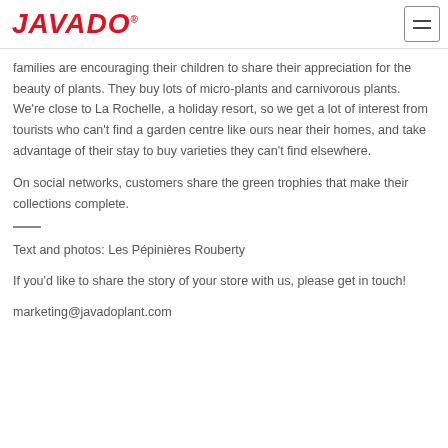JAVADO®
families are encouraging their children to share their appreciation for the beauty of plants. They buy lots of micro-plants and carnivorous plants. We're close to La Rochelle, a holiday resort, so we get a lot of interest from tourists who can't find a garden centre like ours near their homes, and take advantage of their stay to buy varieties they can't find elsewhere.
On social networks, customers share the green trophies that make their collections complete.
Text and photos: Les Pépinières Rouberty
If you'd like to share the story of your store with us, please get in touch!
marketing@javadoplant.com